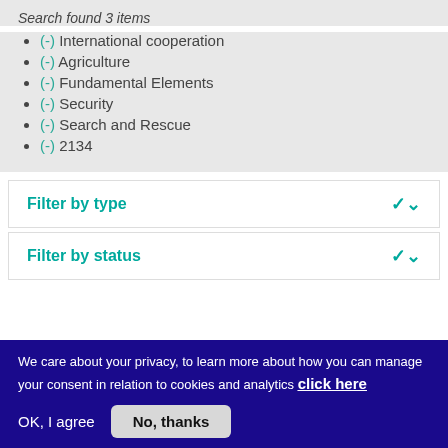Search found 3 items
(-) International cooperation
(-) Agriculture
(-) Fundamental Elements
(-) Security
(-) Search and Rescue
(-) 2134
Filter by type
Filter by status
We care about your privacy, to learn more about how you can manage your consent in relation to cookies and analytics click here
OK, I agree   No, thanks